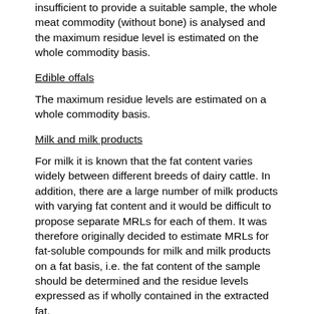insufficient to provide a suitable sample, the whole meat commodity (without bone) is analysed and the maximum residue level is estimated on the whole commodity basis.
Edible offals
The maximum residue levels are estimated on a whole commodity basis.
Milk and milk products
For milk it is known that the fat content varies widely between different breeds of dairy cattle. In addition, there are a large number of milk products with varying fat content and it would be difficult to propose separate MRLs for each of them. It was therefore originally decided to estimate MRLs for fat-soluble compounds for milk and milk products on a fat basis, i.e. the fat content of the sample should be determined and the residue levels expressed as if wholly contained in the extracted fat.
Currently the JMPR follows the CCPR convention of expressing the MRL for fat-soluble compounds in milk on a calculated whole product basis, assuming all milks to contain 4% fat. (The residue is calculated for the whole product based on the residue measured in the fat.) For compounds which are not fat-soluble, the